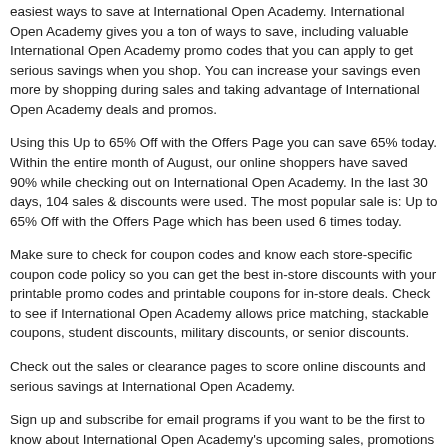easiest ways to save at International Open Academy. International Open Academy gives you a ton of ways to save, including valuable International Open Academy promo codes that you can apply to get serious savings when you shop. You can increase your savings even more by shopping during sales and taking advantage of International Open Academy deals and promos.
Using this Up to 65% Off with the Offers Page you can save 65% today. Within the entire month of August, our online shoppers have saved 90% while checking out on International Open Academy. In the last 30 days, 104 sales & discounts were used. The most popular sale is: Up to 65% Off with the Offers Page which has been used 6 times today.
Make sure to check for coupon codes and know each store-specific coupon code policy so you can get the best in-store discounts with your printable promo codes and printable coupons for in-store deals. Check to see if International Open Academy allows price matching, stackable coupons, student discounts, military discounts, or senior discounts.
Check out the sales or clearance pages to score online discounts and serious savings at International Open Academy.
Sign up and subscribe for email programs if you want to be the first to know about International Open Academy's upcoming sales, promotions and upcoming releases. Check for rewards and loyalty programs to make sure you are getting the most value while you shop.